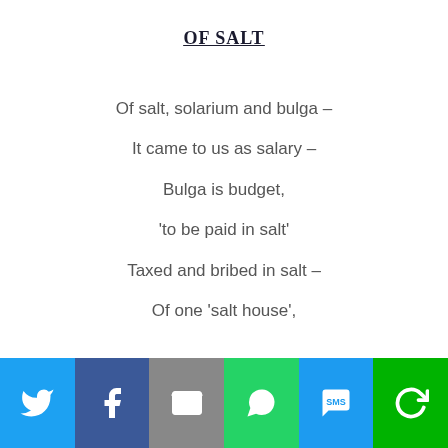OF SALT
Of salt, solarium and bulga –
It came to us as salary –
Bulga is budget,
‘to be paid in salt’
Taxed and bribed in salt –
Of one ‘salt house’,
[Figure (infographic): Social sharing bar with icons for Twitter, Facebook, Email, WhatsApp, SMS, and Share]